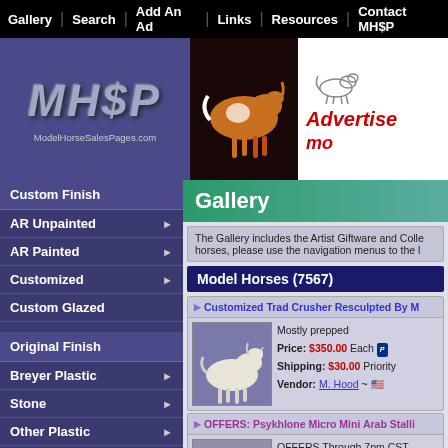Gallery | Search | Add An Ad | Links | Resources | Contact MH$P
[Figure (logo): MH$P ModelHorseSalesPages.com logo on purple background]
[Figure (photo): Painted horse running, header image]
[Figure (illustration): Advertise on model horse sales pages banner with horse illustration]
Custom Finish
AR Unpainted
AR Painted
Customized
Custom Glazed
Original Finish
Breyer Plastic
Stone
Other Plastic
China/Porcelain
Resin
Other
Gallery
The Gallery includes the Artist Giftware and Collectibles horses, please use the navigation menus to the l
Model Horses (7567)
Customized Trad Crusher Resculpted By M
Mostly prepped
Price: $350.00 Each
Shipping: $30.00 Priority
Vendor: M. Hood ~ 🇺🇸
OFFERS: Psykhlone Micro Mini Arab Stalli
OFFERS Through 7pm CST
Shipping: $10.00 Shippi